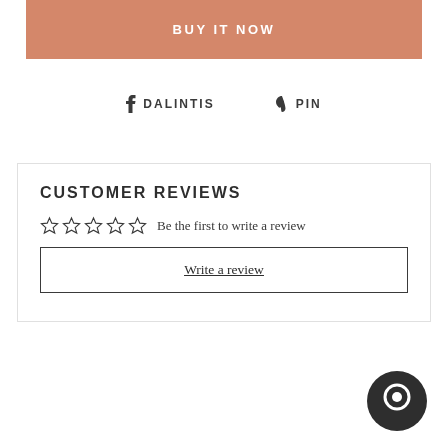BUY IT NOW
DALINTIS  PIN
CUSTOMER REVIEWS
Be the first to write a review
Write a review